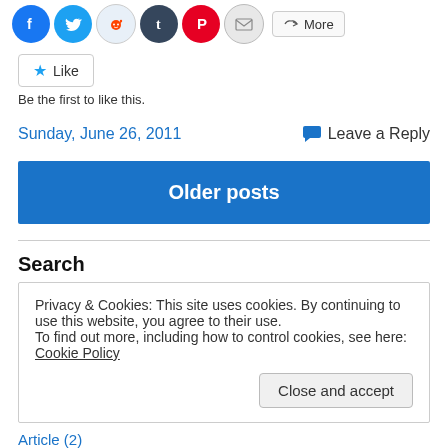[Figure (other): Social sharing icons: Facebook, Twitter, Reddit, Tumblr, Pinterest, Email, More button]
Like
Be the first to like this.
Sunday, June 26, 2011    💬 Leave a Reply
Older posts
Search
Privacy & Cookies: This site uses cookies. By continuing to use this website, you agree to their use.
To find out more, including how to control cookies, see here: Cookie Policy
Close and accept
Article (2)